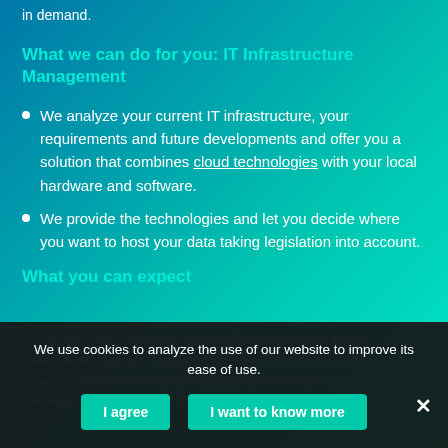in demand.
What we can do for you: IT Infrastructure Management
We analyze your current IT infrastructure, your requirements and future developments and offer you a solution that combines cloud technologies with your local hardware and software.
We provide the technologies and let you decide where you want to host your data taking legislation into account.
What you can expect
We use cookies to analyze the use of our website to improve its ease of use.
I agree
I want to know more